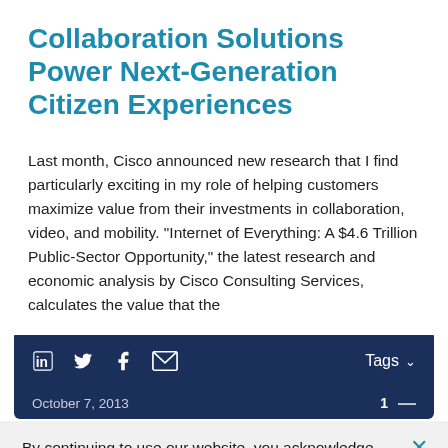Collaboration Solutions Power Next-Generation Citizen Experiences
Last month, Cisco announced new research that I find particularly exciting in my role of helping customers maximize value from their investments in collaboration, video, and mobility. “Internet of Everything: A $4.6 Trillion Public-Sector Opportunity,” the latest research and economic analysis by Cisco Consulting Services, calculates the value that the
October 7, 2013   1
By continuing to use our website, you acknowledge the use of cookies.
Privacy Statement >   Change Settings >